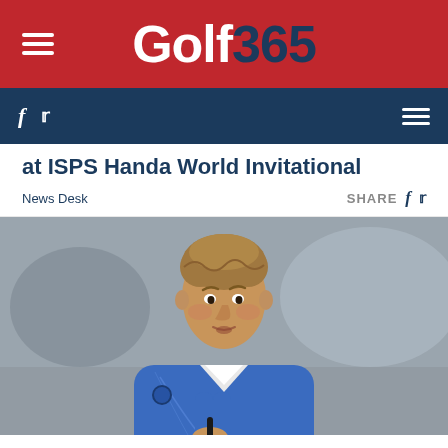Golf365
at ISPS Handa World Invitational
News Desk   SHARE
[Figure (photo): A male golfer wearing a blue sweater crouching and holding a golf club, looking intently ahead. Grey/blurred background.]